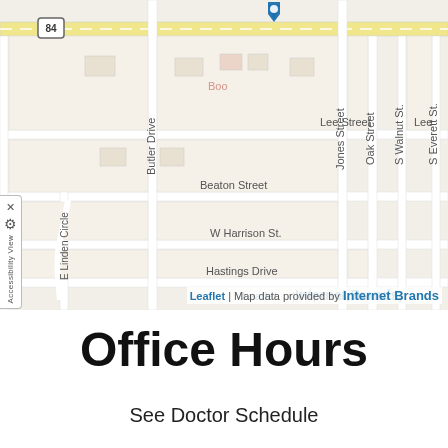[Figure (map): Street map showing area around intersection of Route 84 and nearby streets including Lee Street, Beaton Street, W Harrison St., Hastings Drive, Butler Drive, Jones Street, Oak Street, S Walnut St., S Everett St., E Linden Circle. A blue location marker pin is visible on Route 84. Map attribution reads 'Leaflet | Map data provided by Internet Brands'.]
Office Hours
See Doctor Schedule